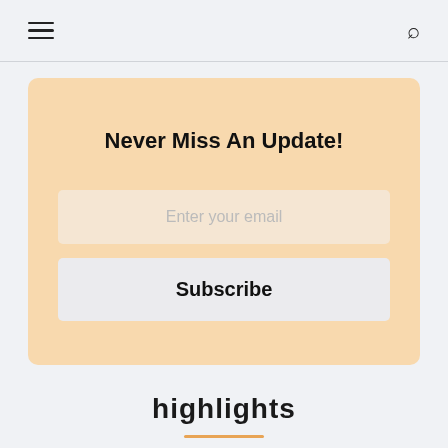Never Miss An Update!
Enter your email
Subscribe
highlights